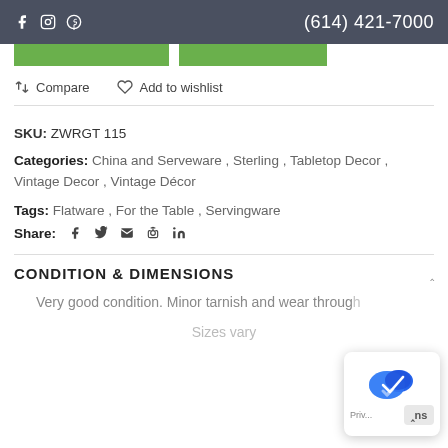f  ⊙  ⓟ   (614) 421-7000
Compare  Add to wishlist
SKU: ZWRGT 115
Categories: China and Serveware, Sterling, Tabletop Decor, Vintage Decor, Vintage Décor
Tags: Flatware, For the Table, Servingware
Share: [social icons]
CONDITION & DIMENSIONS
Very good condition. Minor tarnish and wear through
Sizes vary